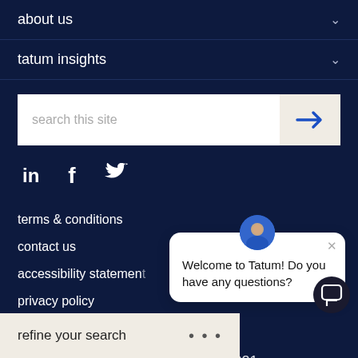about us
tatum insights
[Figure (screenshot): Search bar with placeholder text 'search this site' and a blue arrow submit button]
[Figure (infographic): Social media icons: LinkedIn (in), Facebook (f), Twitter (bird)]
terms & conditions
contact us
accessibility statement
privacy policy
privacy request
© Proudly North American since 2021
[Figure (screenshot): Chat popup widget: avatar photo of a man, close X button, text 'Welcome to Tatum! Do you have any questions?']
refine your search  • • •